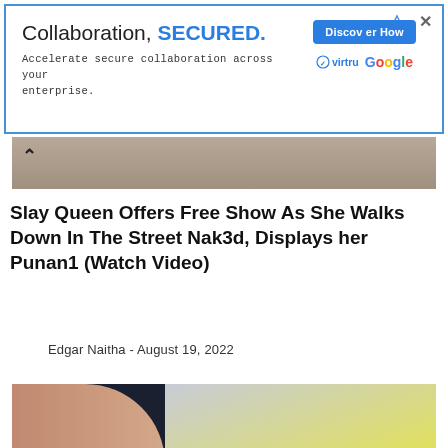[Figure (other): Advertisement banner: 'Collaboration, SECURED.' with Virtru and Google logos and Discover How button]
[Figure (photo): Partial photo at top showing a person, partially cropped]
Slay Queen Offers Free Show As She Walks Down In The Street Nak3d, Displays her Punan1 (Watch Video)
Edgar Naitha - August 19, 2022
[Figure (photo): Photo of a healthcare worker in blue gloves administering a vaccine injection into a person's arm]